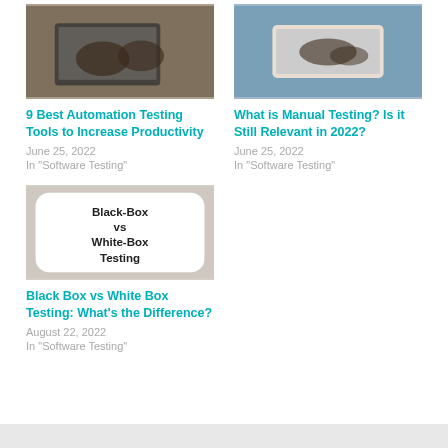[Figure (photo): Person typing on laptop, top-down view, dark clothing]
9 Best Automation Testing Tools to Increase Productivity
June 25, 2022
In "Software Testing"
[Figure (photo): Person typing on laptop, light blue top, top-down view]
What is Manual Testing? Is it Still Relevant in 2022?
June 25, 2022
In "Software Testing"
[Figure (illustration): Black-Box vs White-Box Testing label on white rounded rectangle background]
Black Box vs White Box Testing: What's the Difference?
August 22, 2022
In "Software Testing"